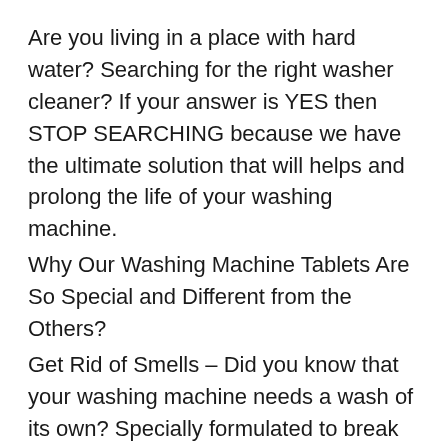Are you living in a place with hard water? Searching for the right washer cleaner? If your answer is YES then STOP SEARCHING because we have the ultimate solution that will helps and prolong the life of your washing machine.
Why Our Washing Machine Tablets Are So Special and Different from the Others?
Get Rid of Smells – Did you know that your washing machine needs a wash of its own? Specially formulated to break up dirt, clean the detergent drawer, ensures it operates well, and leaves your clothes smelling fresh and amazing.
Easy to Use – And there is nothing easier than using these tablets. Just empty your washing machine, place one tablet directly in the washer barrel, after filling with water wait for 40-50